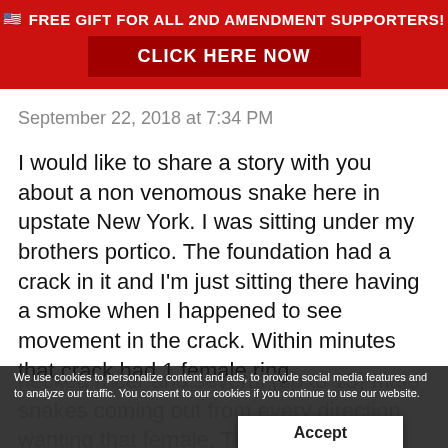🇺🇸 FREE GIFT FOR ALL 2ND AMENDMENT SUPPORTERS!
CLICK HERE NOW
September 22, 2018 at 7:34 PM
I would like to share a story with you about a non venomous snake here in upstate New York. I was sitting under my brothers portico. The foundation had a crack in it and I'm just sitting there having a smoke when I happened to see movement in the crack. Within minutes that crack had 1 female ring necked racer and several {up to 15} male snakes coming out from every direction wanting that female. They were mating. They were writhing frantically and there was a whole lot of slime. In all my{then} 62 years had I never seen the like of it. I filmed it but it didn't come out because of low light. But it was amazing. I didn't know that the snakes
We use cookies to personalize content and ads, to provide social media features and to analyze our traffic. You consent to our cookies if you continue to use our website.
Accept